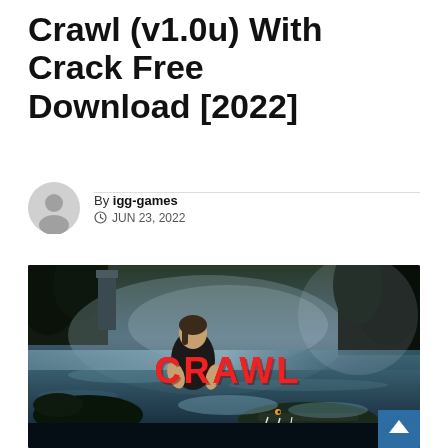Crawl (v1.0u) With Crack Free Download [2022]
By igg-games
JUN 23, 2022
[Figure (photo): Movie poster for CRAWL showing a woman crouching over water with a large alligator below, misty atmospheric background with trees. Bold red text 'CRAWL' in the center-right of the image.]